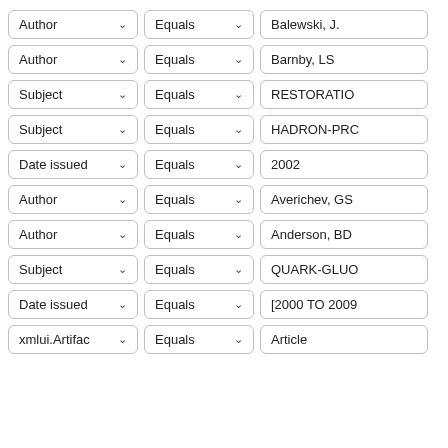[Figure (screenshot): A UI filter/search form with three columns of dropdown fields. Column 1: field type selector (Author, Subject, Date issued, xmlui.Artifac). Column 2: operator selector (Equals). Column 3: value field (Balewski J., Barnby LS, RESTORATION, HADRON-PRC, 2002, Averichev GS, Anderson BD, QUARK-GLUO, [2000 TO 2009, Article). Ten rows visible plus partial 11th row.]